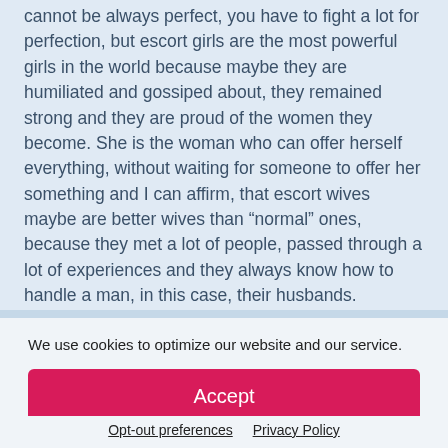cannot be always perfect, you have to fight a lot for perfection, but escort girls are the most powerful girls in the world because maybe they are humiliated and gossiped about, they remained strong and they are proud of the women they become. She is the woman who can offer herself everything, without waiting for someone to offer her something and I can affirm, that escort wives maybe are better wives than “normal” ones, because they met a lot of people, passed through a lot of experiences and they always know how to handle a man, in this case, their husbands.
Jennifer
We use cookies to optimize our website and our service.
Accept
Opt-out preferences   Privacy Policy